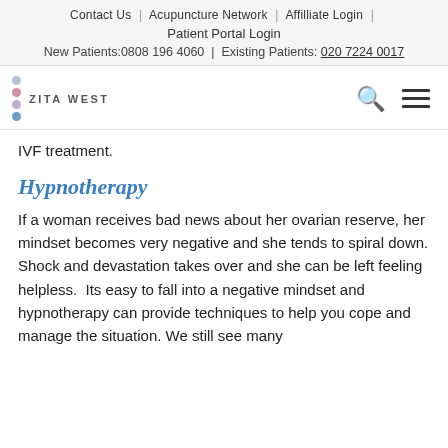Contact Us | Acupuncture Network | Affilliate Login | Patient Portal Login
New Patients:0808 196 4060 | Existing Patients: 020 7224 0017
[Figure (logo): Zita West logo with colored dots and text ZITA WEST, plus search and hamburger menu icons]
IVF treatment.
Hypnotherapy
If a woman receives bad news about her ovarian reserve, her mindset becomes very negative and she tends to spiral down. Shock and devastation takes over and she can be left feeling helpless.  Its easy to fall into a negative mindset and hypnotherapy can provide techniques to help you cope and manage the situation. We still see many